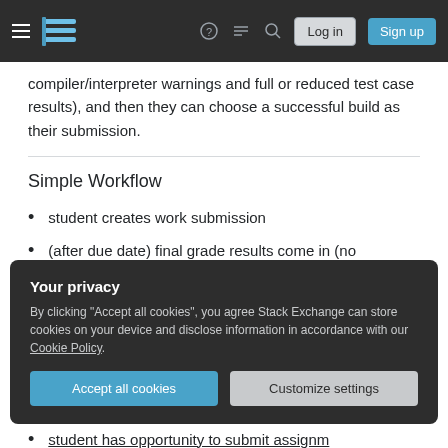Stack Exchange navigation bar with hamburger, logo, help, chat, search icons, Log in and Sign up buttons
compiler/interpreter warnings and full or reduced test case results), and then they can choose a successful build as their submission.
Simple Workflow
student creates work submission
(after due date) final grade results come in (no opportunity to try teacher's environment unless they crashed office hours)
Your privacy — By clicking "Accept all cookies", you agree Stack Exchange can store cookies on your device and disclose information in accordance with our Cookie Policy.
student has opportunity to submit assignment